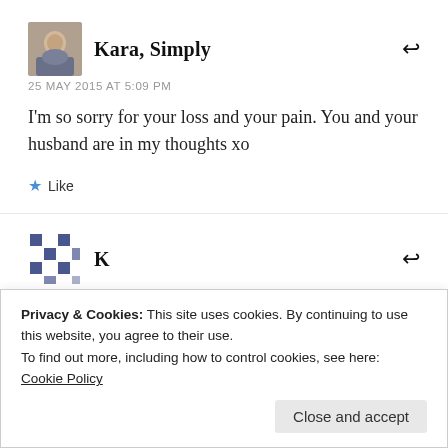Kara, Simply
25 MAY 2015 AT 5:09 PM
I'm so sorry for your loss and your pain. You and your husband are in my thoughts xo
Like
K
Privacy & Cookies: This site uses cookies. By continuing to use this website, you agree to their use. To find out more, including how to control cookies, see here: Cookie Policy
Close and accept